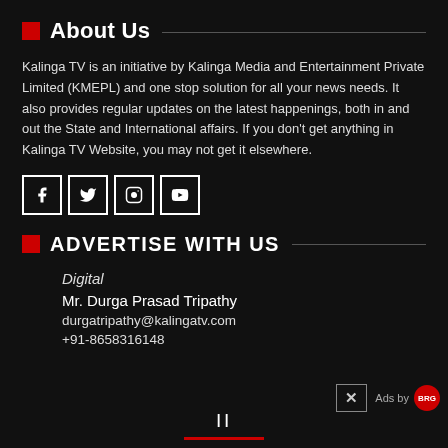About Us
Kalinga TV is an initiative by Kalinga Media and Entertainment Private Limited (KMEPL) and one stop solution for all your news needs. It also provides regular updates on the latest happenings, both in and out the State and International affairs. If you don't get anything in Kalinga TV Website, you may not get it elsewhere.
[Figure (infographic): Social media icons: Facebook, Twitter, Instagram, YouTube]
ADVERTISE WITH US
Digital
Mr. Durga Prasad Tripathy
durgatripathy@kalingatv.com
+91-8658316148